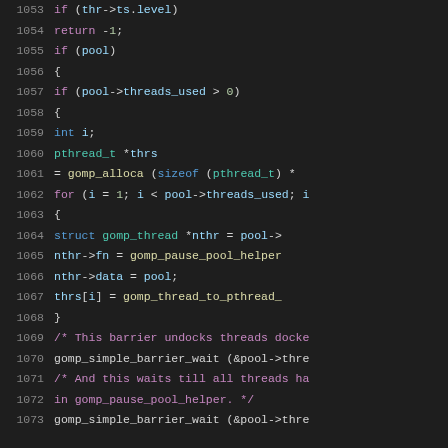[Figure (screenshot): Code viewer showing C source lines 1053-1073 with syntax highlighting on dark background. Colors: line numbers in gray, keywords in blue/purple, types in teal, function names in yellow, comments in pink/red, variables in light blue, numbers in green.]